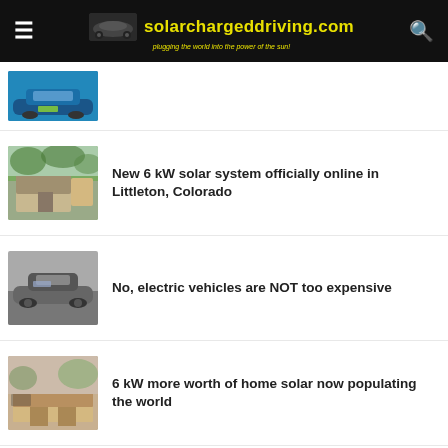solarchargeddriving.com — plugging the world into the power of the sun!
New 6 kW solar system officially online in Littleton, Colorado
No, electric vehicles are NOT too expensive
6 kW more worth of home solar now populating the world
After 18 months of HOA process work, I'm finally going solar in Littleton, Colo.